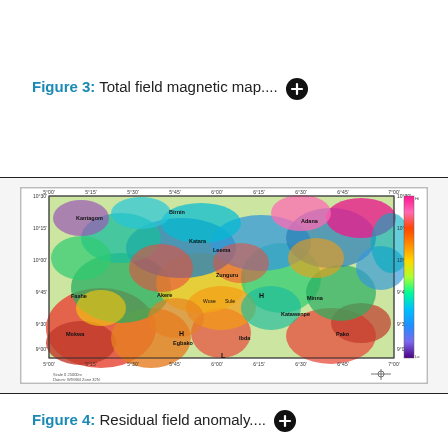Figure 3: Total field magnetic map....
[Figure (map): Total field magnetic map showing colorful anomaly patterns over a geographic region with place names including Kantagom, Birnin, Adana, Katara, Leema, Zunguru, Fashe, Akere, Wuse, Sule, Minna, H, Katawenpe, Mokwa, H, Egbako, Ibda, Pako, L. Includes a color scale bar on the right side ranging from low (blue/purple) to high (red/pink) values, coordinate grid with latitude/longitude labels, and a scale bar at bottom.]
Figure 4: Residual field anomaly....